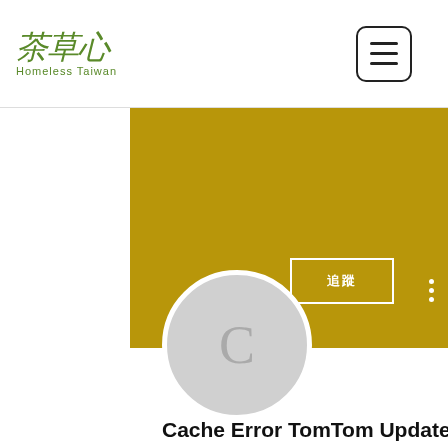茶草心 Homeless Taiwan — navigation header with hamburger menu
[Figure (illustration): Gold/dark-yellow banner background with a follow button outlined in white showing Chinese characters, and a three-dot menu icon. A circular avatar placeholder with letter C appears below the banner.]
Cache Error TomTom Update
0 粉絲 • 0 追蹤
[Figure (other): Dropdown/expandable box with a chevron down arrow]
最新貼文
最後活躍時間 2022年6月2日
貼文